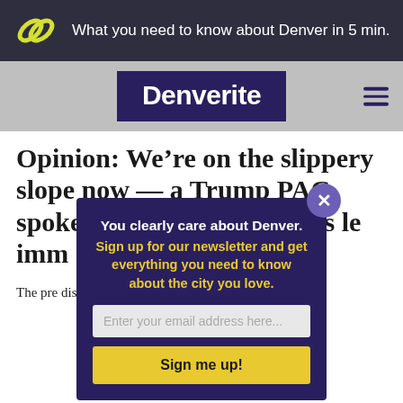What you need to know about Denver in 5 min.
[Figure (logo): Denverite logo - yellow chain link icon]
[Figure (logo): Denverite wordmark in white on dark purple background]
Opinion: We’re on the slippery slope now — a Trump PAC spokesperson cites which as le imm
The pre discuss
[Figure (other): Newsletter signup modal overlay with dark purple background. Heading: 'You clearly care about Denver.' Subtext in yellow: 'Sign up for our newsletter and get everything you need to know about the city you love.' Email input field and 'Sign me up!' button.]